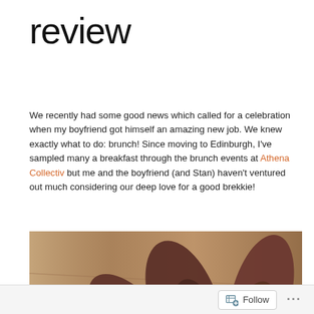review
We recently had some good news which called for a celebration when my boyfriend got himself an amazing new job. We knew exactly what to do: brunch! Since moving to Edinburgh, I've sampled many a breakfast through the brunch events at Athena Collectiv but me and the boyfriend (and Stan) haven't ventured out much considering our deep love for a good brekkie!
[Figure (photo): Close-up overhead photo of a dark red/maroon succulent plant on a wooden table surface, with a glass of water visible in the lower left and what appears to be a menu or paper in the lower right]
Follow ...